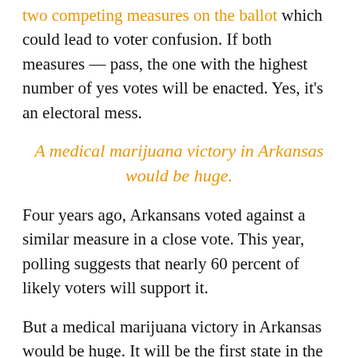two competing measures on the ballot which could lead to voter confusion. If both measures — pass, the one with the highest number of yes votes will be enacted. Yes, it's an electoral mess.
A medical marijuana victory in Arkansas would be huge.
Four years ago, Arkansans voted against a similar measure in a close vote. This year, polling suggests that nearly 60 percent of likely voters will support it.
But a medical marijuana victory in Arkansas would be huge. It will be the first state in the south to enact a program designed to assist patients who want and need cannabis as a medicine. It likely will force other